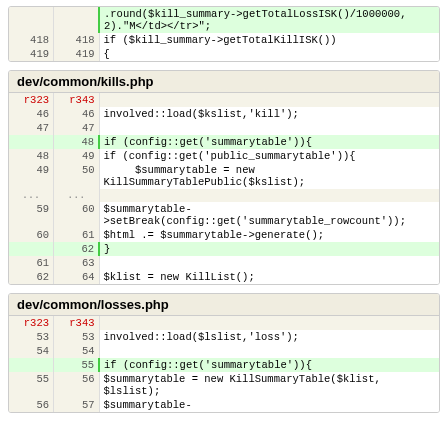|  |  | code |
| --- | --- | --- |
|  |  | .round($kill_summary->getTotalLossISK()/1000000,2)."M</td></tr>"; |
| 418 | 418 | if ($kill_summary->getTotalKillISK()) |
| 419 | 419 | { |
| r323 | r343 | code |
| --- | --- | --- |
| 46 | 46 | involved::load($kslist,'kill'); |
| 47 | 47 |  |
|  | 48 | if (config::get('summarytable')){ |
| 48 | 49 | if (config::get('public_summarytable')){ |
| 49 | 50 |      $summarytable = new KillSummaryTablePublic($kslist); |
| ... | ... |  |
| 59 | 60 | $summarytable->setBreak(config::get('summarytable_rowcount')); |
| 60 | 61 | $html .= $summarytable->generate(); |
|  | 62 | } |
| 61 | 63 |  |
| 62 | 64 | $klist = new KillList(); |
| r323 | r343 | code |
| --- | --- | --- |
| 53 | 53 | involved::load($lslist,'loss'); |
| 54 | 54 |  |
|  | 55 | if (config::get('summarytable')){ |
| 55 | 56 | $summarytable = new KillSummaryTable($klist,$lslist); |
| 56 | 57 | $summarytable- |